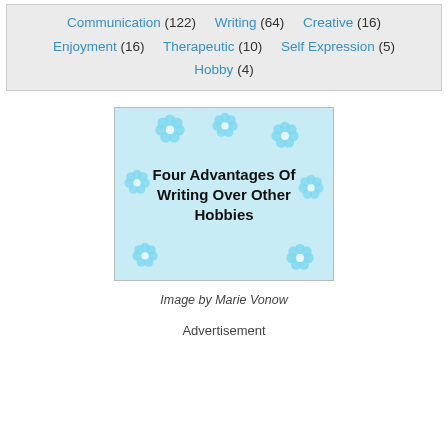Communication (122)   Writing (64)   Creative (16)   Enjoyment (16)   Therapeutic (10)   Self Expression (5)   Hobby (4)
[Figure (photo): Image of a light blue background with blue flower decorations and bold black text reading 'Four Advantages Of Writing Over Other Hobbies']
Image by Marie Vonow
Advertisement